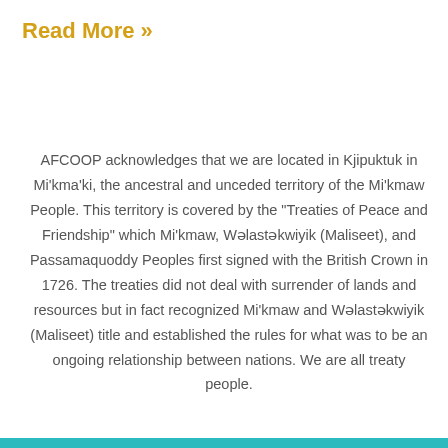Read More »
AFCOOP acknowledges that we are located in Kjipuktuk in Mi'kma'ki, the ancestral and unceded territory of the Mi'kmaw People. This territory is covered by the "Treaties of Peace and Friendship" which Mi'kmaw, Wəlastəkwiyik (Maliseet), and Passamaquoddy Peoples first signed with the British Crown in 1726. The treaties did not deal with surrender of lands and resources but in fact recognized Mi'kmaw and Wəlastəkwiyik (Maliseet) title and established the rules for what was to be an ongoing relationship between nations. We are all treaty people.